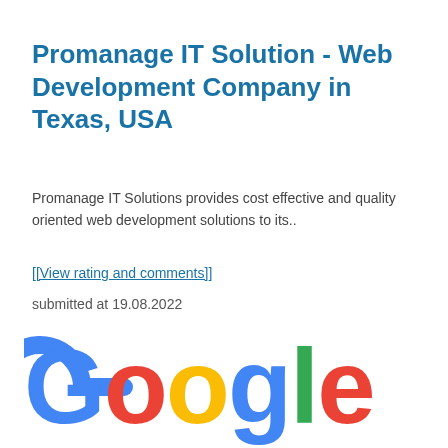Promanage IT Solution - Web Development Company in Texas, USA
Promanage IT Solutions provides cost effective and quality oriented web development solutions to its..
[[View rating and comments]]
submitted at 19.08.2022
[Figure (logo): Google logo in full color with letters G-o-o-g-l-e in blue, red, yellow, blue, green, red]